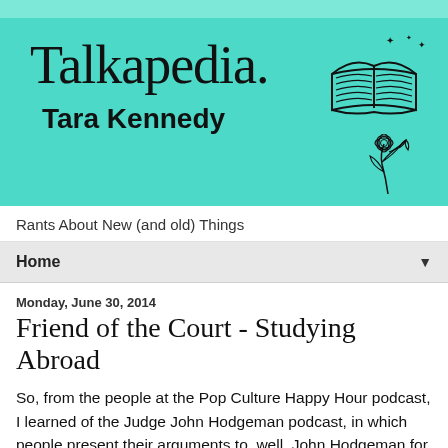[Figure (logo): Talkapedia blog header banner with teal/mint background, site title 'Talkapedia.' in serif font, author name 'Tara Kennedy' in bold sans-serif, decorative open book illustration with sparkles top right, and floral illustration bottom right]
Rants About New (and old) Things
Home ▼
Monday, June 30, 2014
Friend of the Court - Studying Abroad
So, from the people at the Pop Culture Happy Hour podcast, I learned of the Judge John Hodgeman podcast, in which people present their arguments to, well, John Hodgeman for resolution.  I found one episode about a guy who wanted to